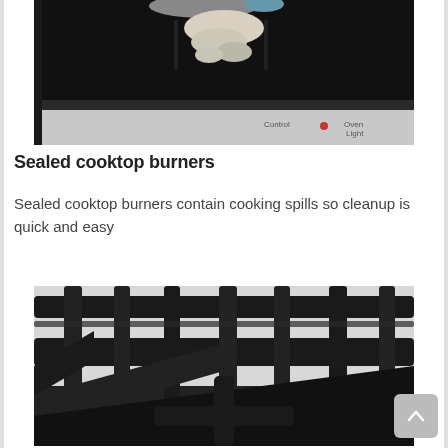[Figure (photo): Close-up of a black glass cooktop stove top surface with cream/dairy spill on a burner, stainless steel control panel visible in background with Control and Oven Light labels]
Sealed cooktop burners
Sealed cooktop burners contain cooking spills so cleanup is quick and easy
[Figure (photo): Close-up macro shot of dark cast iron stove grates on a gas range cooktop, showing the crosshatch grid pattern and burner supports in black finish]